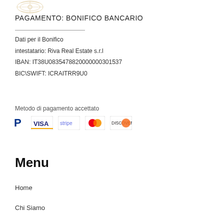[Figure (logo): Decorative logo/emblem at top left]
PAGAMENTO: BONIFICO BANCARIO
Dati per il Bonifico
intestatario: Riva Real Estate s.r.l
IBAN: IT38U0835478820000000301537
BIC\SWIFT: ICRAITRR9U0
Metodo di pagamento accettato
[Figure (logo): Payment method icons: PayPal, Visa, Stripe, Mastercard, Discover]
Menu
Home
Chi Siamo